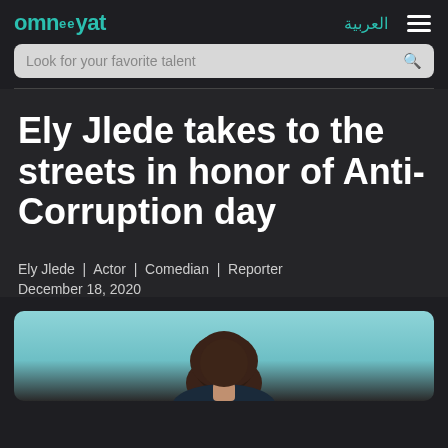omneeyat | العربية
Ely Jlede takes to the streets in honor of Anti-Corruption day
Ely Jlede | Actor | Comedian | Reporter
December 18, 2020
[Figure (photo): Partial photo of a person from behind showing the back of their head, with a light blue/teal background sky.]